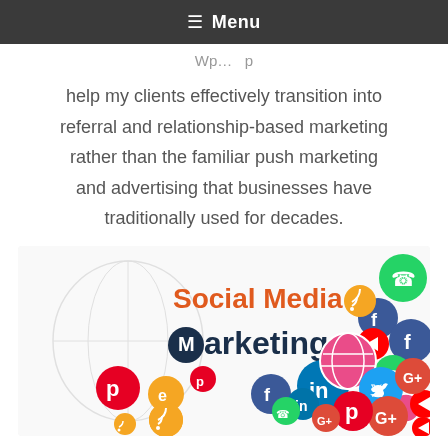≡ Menu
help my clients effectively transition into referral and relationship-based marketing rather than the familiar push marketing and advertising that businesses have traditionally used for decades.
[Figure (illustration): Social Media Marketing graphic with colorful circles containing logos of various social media platforms including Facebook, LinkedIn, Twitter, Pinterest, WhatsApp, YouTube, Google+, and others. Title text reads 'Social Media Marketing' in orange and dark navy.]
Ever since the first voice was heard over the radio in